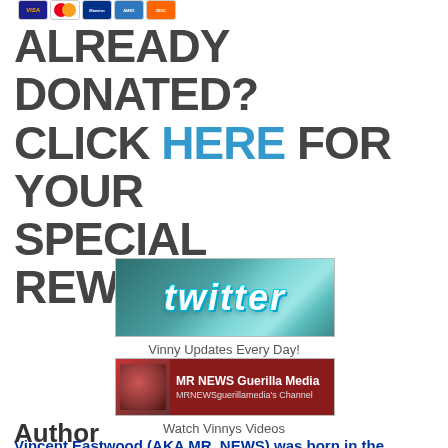[Figure (logo): Payment card logos: Visa, Mastercard, Maestro, American Express, Discover]
ALREADY DONATED? CLICK HERE FOR YOUR SPECIAL REWARDS!
[Figure (logo): Twitter banner with stylized twitter logo text on teal/green background]
Vinny Updates Every Day!
[Figure (logo): MR NEWS Guerilla Media YouTube channel banner with red background]
Watch Vinnys Videos
Author
Vincent Eastwood (AKA MR. NEWS) was born in the ominous year of 1984, the same year set out in Orwells masterpiece and the year of New Zealands neoliberal economic reforms.